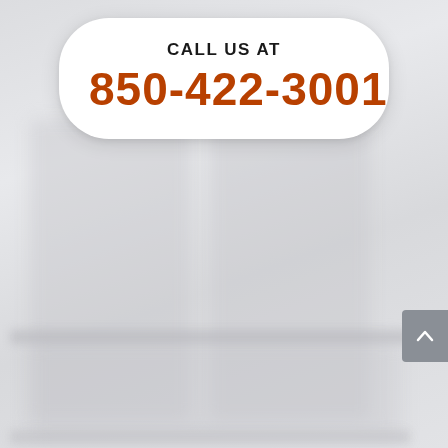CALL US AT
850-422-3001
[Figure (other): Gray scroll-to-top button with upward chevron arrow, positioned at the right edge of the page]